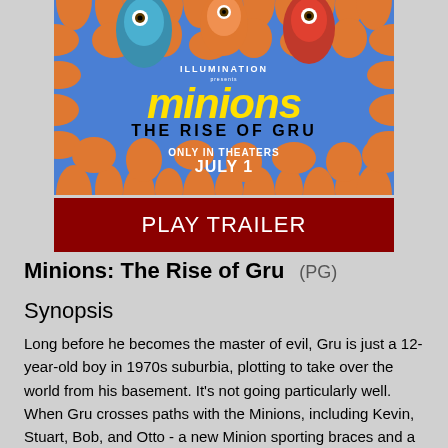[Figure (photo): Movie poster for 'Minions: The Rise of Gru' showing minion characters on a psychedelic orange and blue background with the text 'ILLUMINATION presents MINIONS THE RISE OF GRU ONLY IN THEATERS JULY 1']
PLAY TRAILER
Minions: The Rise of Gru  (PG)
Synopsis
Long before he becomes the master of evil, Gru is just a 12-year-old boy in 1970s suburbia, plotting to take over the world from his basement. It's not going particularly well. When Gru crosses paths with the Minions, including Kevin, Stuart, Bob, and Otto - a new Minion sporting braces and a desperate need to please - this unexpected family joins forces. Together, they build their first lair, design their first